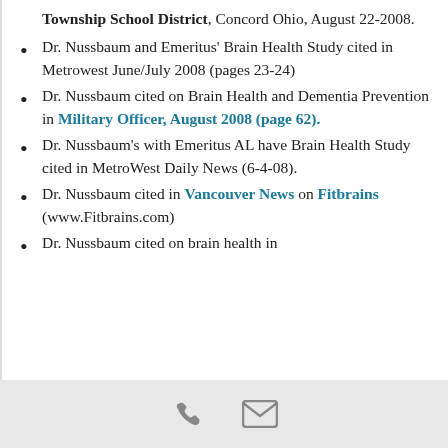Township School District, Concord Ohio, August 22-2008.
Dr. Nussbaum and Emeritus' Brain Health Study cited in Metrowest June/July 2008 (pages 23-24)
Dr. Nussbaum cited on Brain Health and Dementia Prevention in Military Officer, August 2008 (page 62).
Dr. Nussbaum's with Emeritus AL have Brain Health Study cited in MetroWest Daily News (6-4-08).
Dr. Nussbaum cited in Vancouver News on Fitbrains (www.Fitbrains.com)
Dr. Nussbaum cited on brain health in